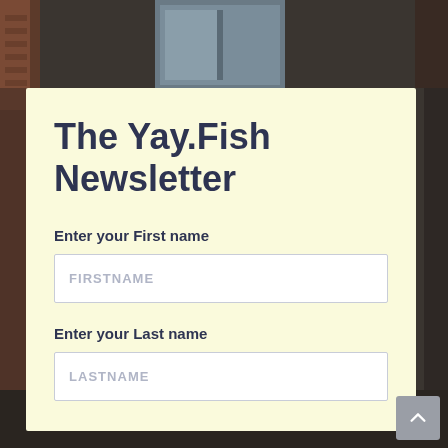[Figure (photo): Dark background photo of a brick building with weathered wooden doors/windows, partially visible on the left and right sides behind the form panel]
The Yay.Fish Newsletter
Enter your First name
FIRSTNAME
Enter your Last name
LASTNAME